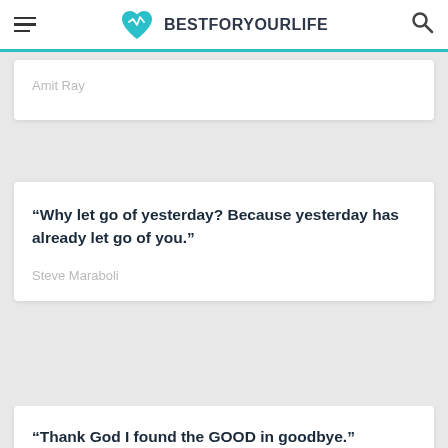BESTFORYOURLIFE
Amit Ray
“Why let go of yesterday? Because yesterday has already let go of you.”
Steve Maraboli
“Thank God I found the GOOD in goodbye.”